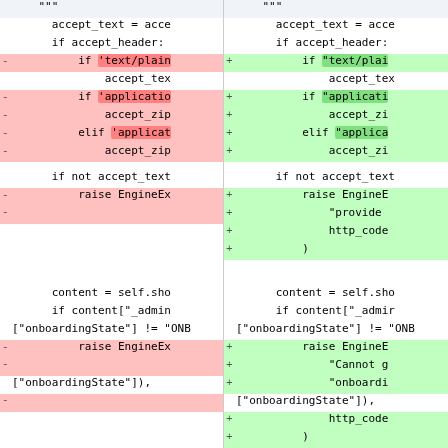[Figure (screenshot): A side-by-side code diff view showing two panes. Left pane shows removed lines (red background) and right pane shows added lines (green background). The code is Python-like source code dealing with accept_text, accept_header, raise EngineEx, content, onboardingState checks.]